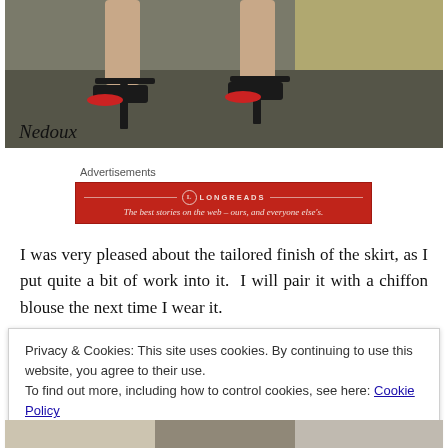[Figure (photo): Close-up photo of a woman's legs and feet wearing black strappy high-heeled sandals with red toenail polish, standing on a dark floor near a beige/olive wall. A cursive watermark 'Nedoux' appears in the bottom-left corner.]
Advertisements
[Figure (other): Longreads advertisement banner: red background with the Longreads logo and tagline 'The best stories on the web – ours, and everyone else's.']
I was very pleased about the tailored finish of the skirt, as I put quite a bit of work into it.  I will pair it with a chiffon blouse the next time I wear it.
Privacy & Cookies: This site uses cookies. By continuing to use this website, you agree to their use.
To find out more, including how to control cookies, see here: Cookie Policy
Close and accept
[Figure (photo): Partial view of a photo at the bottom of the page showing a person with patterned fabric visible.]